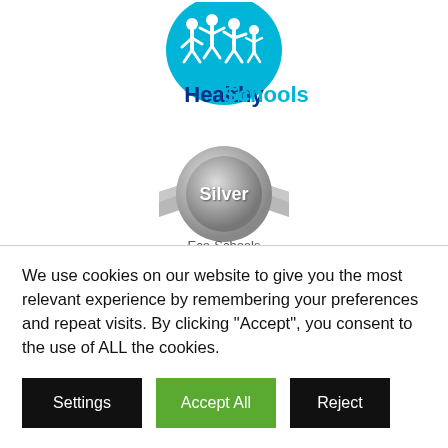[Figure (logo): Healthy Schools logo: cyan semicircle with white silhouettes of children, below in dark blue text 'Healthy Schools']
[Figure (logo): Eco-Schools Silver Award badge: a silver circular medal with ribbon/banner, text 'Silver' in center circle, below 'Eco-Schools Silver Award']
[Figure (logo): Partial Sainsbury's award badge/medal, partially cropped at bottom of visible area, showing 'Sainsbury's' text on silver dome shape]
We use cookies on our website to give you the most relevant experience by remembering your preferences and repeat visits. By clicking “Accept”, you consent to the use of ALL the cookies.